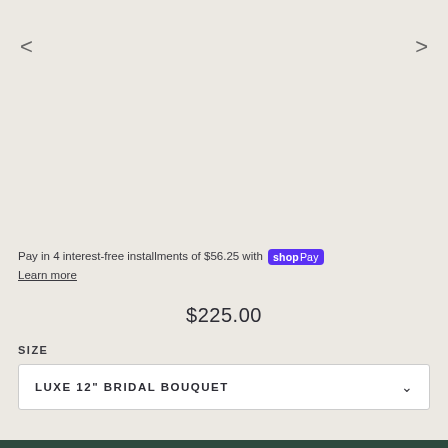<
>
Pay in 4 interest-free installments of $56.25 with shop Pay
Learn more
$225.00
SIZE
LUXE 12" BRIDAL BOUQUET